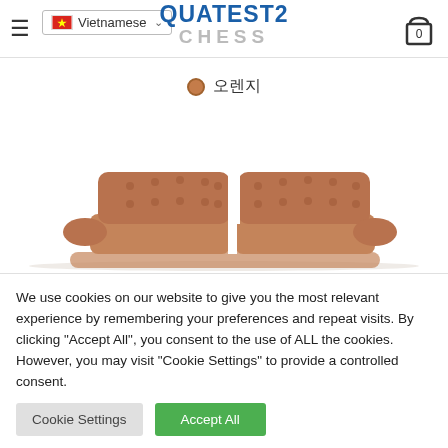Vietnamese | QUATEST2 CHESS | Cart: 0
● 오렌지
[Figure (photo): Brown leather tufted sofa/sectional furniture product image against white background]
We use cookies on our website to give you the most relevant experience by remembering your preferences and repeat visits. By clicking "Accept All", you consent to the use of ALL the cookies. However, you may visit "Cookie Settings" to provide a controlled consent.
Cookie Settings | Accept All